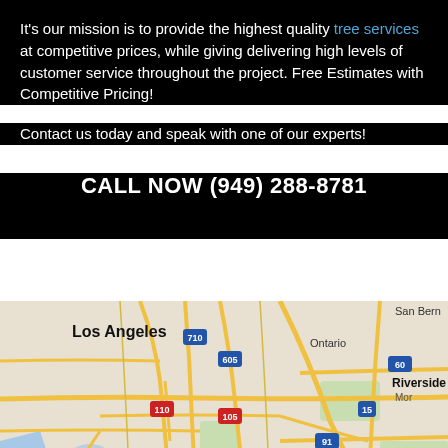It's our mission is to provide the highest quality tree services at competitive prices, while giving delivering high levels of customer service throughout the project. Free Estimates with Competitive Pricing!
Contact us today and speak with one of our experts!
CALL NOW (949) 288-8781
[Figure (map): Google Maps screenshot showing Southern California area including Los Angeles, Ontario, San Bernardino, Riverside, Torrance, Anaheim, Long Beach, Corona, with highways 605, 710, 110, 105, 405, 91, 5, 15, 60 labeled.]